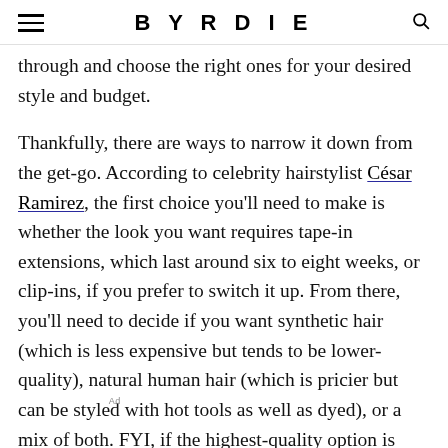BYRDIE
through and choose the right ones for your desired style and budget.
Thankfully, there are ways to narrow it down from the get-go. According to celebrity hairstylist César Ramirez, the first choice you'll need to make is whether the look you want requires tape-in extensions, which last around six to eight weeks, or clip-ins, if you prefer to switch it up. From there, you'll need to decide if you want synthetic hair (which is less expensive but tends to be lower-quality), natural human hair (which is pricier but can be styled with hot tools as well as dyed), or a mix of both. FYI, if the highest-quality option is what you're after